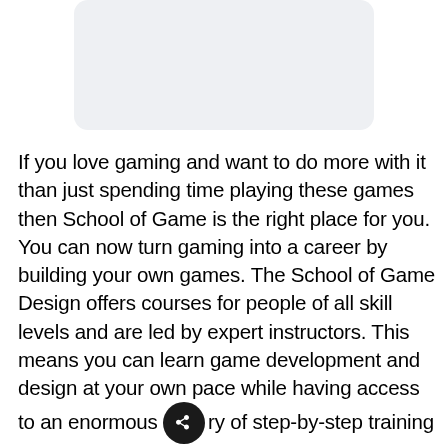[Figure (other): Light gray rounded rectangle placeholder image at the top of the page]
If you love gaming and want to do more with it than just spending time playing these games then School of Game is the right place for you. You can now turn gaming into a career by building your own games. The School of Game Design offers courses for people of all skill levels and are led by expert instructors. This means you can learn game development and design at your own pace while having access to an enormous [share icon] ry of step-by-step training videos. You can now get an unbeatable discount on School of Game Design: Lifetime Membership. Instead of its original price of $5,990, the lifetime membership is now up for grabs